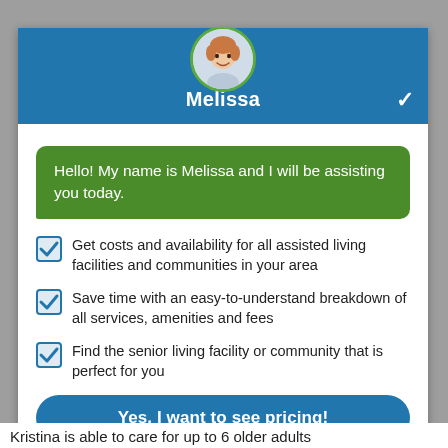[Figure (illustration): Chat widget with avatar of Melissa, blue header bar with name and chevron]
Hello! My name is Melissa and I will be assisting you today.
Get costs and availability for all assisted living facilities and communities in your area
Save time with an easy-to-understand breakdown of all services, amenities and fees
Find the senior living facility or community that is perfect for you
Yes, I want to see pricing!
Or call (888) 948-8352
Kristina is able to care for up to 6 older adults